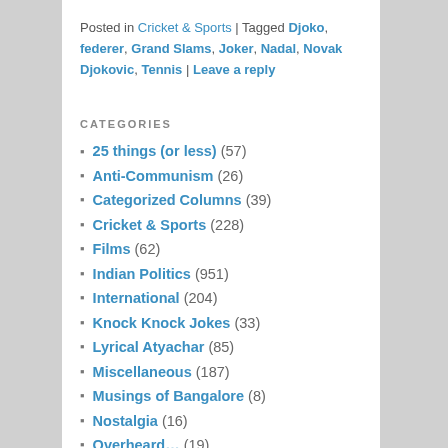Posted in Cricket & Sports | Tagged Djoko, federer, Grand Slams, Joker, Nadal, Novak Djokovic, Tennis | Leave a reply
CATEGORIES
25 things (or less) (57)
Anti-Communism (26)
Categorized Columns (39)
Cricket & Sports (228)
Films (62)
Indian Politics (951)
International (204)
Knock Knock Jokes (33)
Lyrical Atyachar (85)
Miscellaneous (187)
Musings of Bangalore (8)
Nostalgia (16)
Overheard… (19)
Poems (29)
Published Stuff (30)